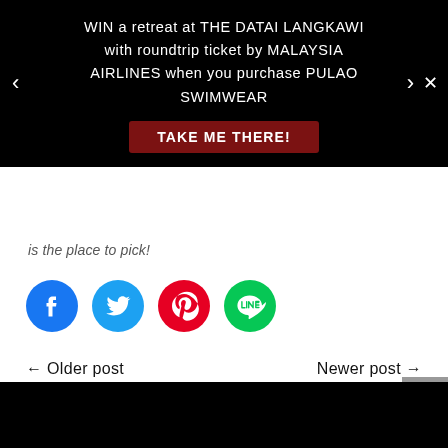WIN a retreat at THE DATAI LANGKAWI with roundtrip ticket by MALAYSIA AIRLINES when you purchase PULAO SWIMWEAR
TAKE ME THERE!
is the place to pick!
[Figure (infographic): Social sharing icons: Facebook (blue), Twitter (cyan-blue), Pinterest (red), LINE (green)]
← Older post
Newer post →